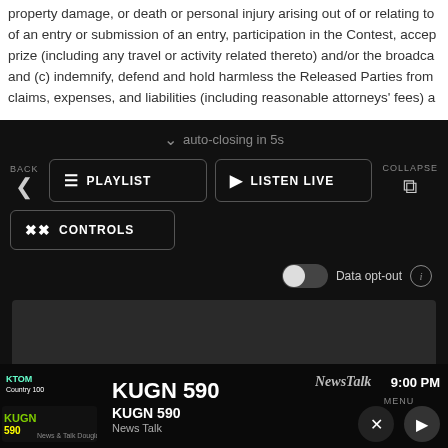property damage, or death or personal injury arising out of or relating to of an entry or submission of an entry, participation in the Contest, accep prize (including any travel or activity related thereto) and/or the broadca and (c) indemnify, defend and hold harmless the Released Parties from claims, expenses, and liabilities (including reasonable attorneys' fees) a
[Figure (screenshot): Screenshot of a radio streaming app interface with dark background. Shows 'auto-closing in 5s' text, BACK and COLLAPSE navigation, PLAYLIST and LISTEN LIVE buttons, CONTROLS button, Data opt-out toggle, a gray ad box, and bottom bar showing KUGN 590 News Talk station with menu controls showing 9:00 PM time.]